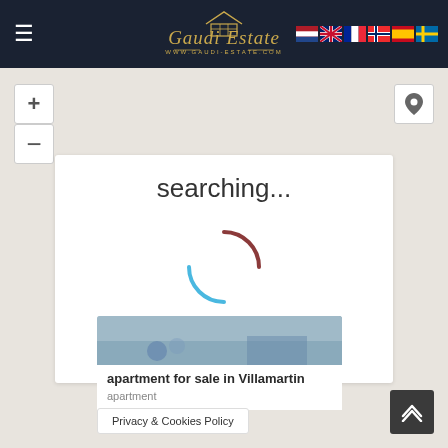[Figure (logo): Gaudi Estate logo with gold serif italic text and house/grid icon, www.gaudi-estate.com URL underneath, on dark navy background]
[Figure (screenshot): Map view with zoom in (+), zoom out (-) controls on left, location pin button on right, gray map background]
searching...
[Figure (illustration): Loading spinner circle, partially blue and partially dark red/maroon arc]
apartment for sale in Villamartin
apartment
Privacy & Cookies Policy